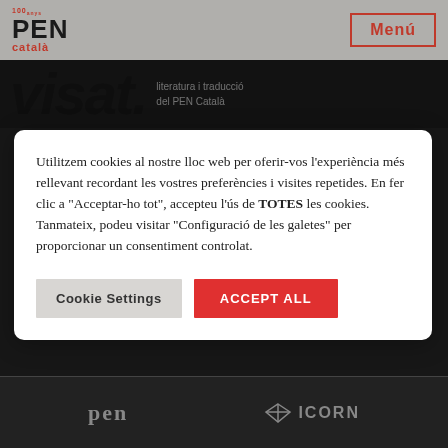100 anys PEN català | Menú
[Figure (screenshot): Visat magazine logo — large bold italic text 'visat.' with subtitle 'literatura i traducció del PEN Català' on dark background]
Utilitzem cookies al nostre lloc web per oferir-vos l'experiència més rellevant recordant les vostres preferències i visites repetides. En fer clic a "Acceptar-ho tot", accepteu l'ús de TOTES les cookies. Tanmateix, podeu visitar "Configuració de les galetes" per proporcionar un consentiment controlat.
Cookie Settings | ACCEPT ALL
pen | ICORN